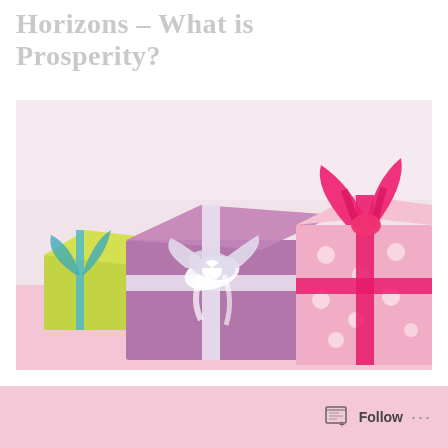Horizons – What is Prosperity?
[Figure (photo): Three decorative gift boxes with ribbons and bows on a pink background. One purple box with white ribbon, one green box with blue ribbon, and one pink polka-dot box with hot pink ribbon.]
Follow ...